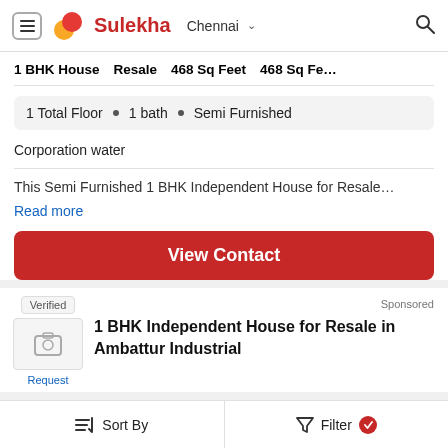Sulekha Chennai
1 BHK House   Resale   468 Sq Feet   468 Sq Fe...
1 Total Floor • 1 bath • Semi Furnished
Corporation water
This Semi Furnished 1 BHK Independent House for Resale...
Read more
View Contact
Sponsored
Verified
Request
1 BHK Independent House for Resale in Ambattur Industrial
Sort By   Filter